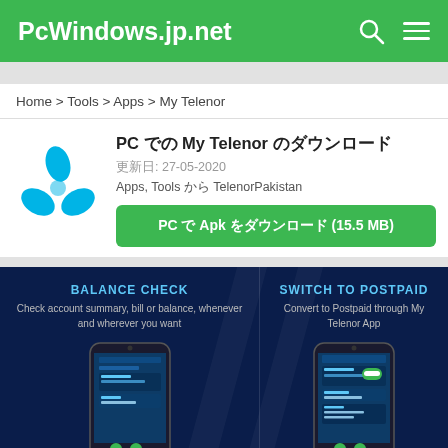PcWindows.jp.net
Home > Tools > Apps > My Telenor
PC での My Telenor のダウンロード
更新日: 27-05-2020
Apps, Tools から TelenorPakistan
PC で Apk をダウンロード (15.5 MB)
[Figure (screenshot): My Telenor app screenshot showing BALANCE CHECK section and SWITCH TO POSTPAID section on dark blue background with phone mockups]
BALANCE CHECK - Check account summary, bill or balance, whenever and wherever you want
SWITCH TO POSTPAID - Convert to Postpaid through My Telenor App